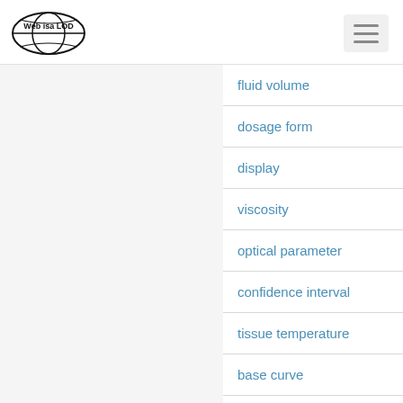Web isa LOD
fluid volume
dosage form
display
viscosity
optical parameter
confidence interval
tissue temperature
base curve
dose rate
path loss
time step